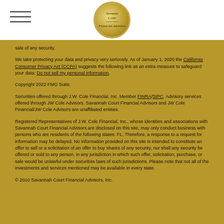[Figure (logo): Savannah Court Financial Advisors circular logo with gold background and figure illustration]
sale of any security.
We take protecting your data and privacy very seriously. As of January 1, 2020 the California Consumer Privacy Act (CCPA) suggests the following link as an extra measure to safeguard your data: Do not sell my personal information.
Copyright 2022 FMG Suite.
Securities offered through J.W. Cole Financial, Inc. Member FINRA/SIPC. Advisory services offered through JW Cole Advisors. Savannah Court Financial Advisors and JW Cole Financial/JW Cole Advisors are unaffiliated entities.
Registered Representatives of J.W. Cole Financial, Inc., whose identities and associations with Savannah Court Financial Advisors are disclosed on this site, may only conduct business with persons who are residents of the following states: FL. Therefore, a response to a request for information may be delayed. No information provided on this site is intended to constitute an offer to sell or a solicitation of an offer to buy shares of any security, nor shall any security be offered or sold to any person, in any jurisdiction in which such offer, solicitation, purchase, or sale would be unlawful under securities laws of such jurisdictions. Please note that not all of the investments and services mentioned may be available in every state.
© 2010 Savannah Court Financial Advisors, Inc.